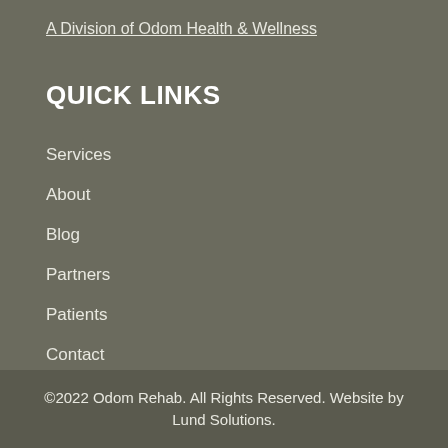A Division of Odom Health & Wellness
QUICK LINKS
Services
About
Blog
Partners
Patients
Contact
©2022 Odom Rehab. All Rights Reserved. Website by Lund Solutions.